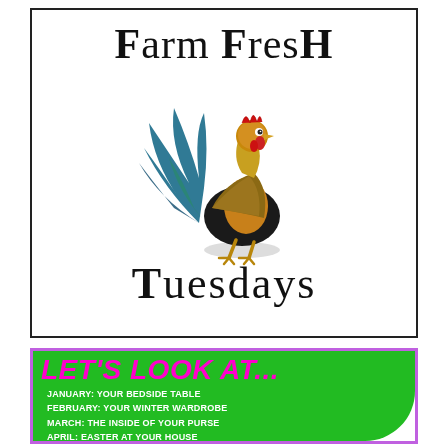Farm Fresh
[Figure (illustration): Colorful vintage illustration of a rooster standing in profile, with blue-green and golden-brown feathers, red comb and wattles, facing right.]
Tuesdays
Let's Look At...
January: Your Bedside Table
February: Your Winter Wardrobe
March: The Inside Of Your Purse
April: Easter At Your House
May: Your Weekend
June: Your Carry On Bag